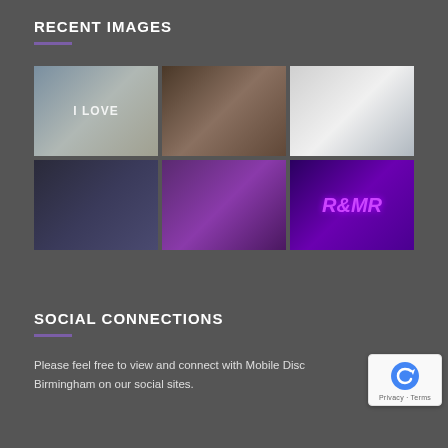RECENT IMAGES
[Figure (photo): Grid of 6 event/wedding photos showing: a reception hall with LOVE letters and white chairs, a bride and groom portrait, a white dance floor, a dark venue with blue lighting and round tables, people dancing under purple lights, and illuminated R&MR letters]
SOCIAL CONNECTIONS
Please feel free to view and connect with Mobile Disc Birmingham on our social sites.
[Figure (logo): Google reCAPTCHA badge with Privacy and Terms text]